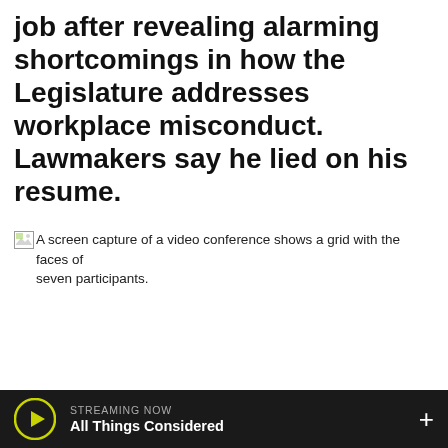job after revealing alarming shortcomings in how the Legislature addresses workplace misconduct. Lawmakers say he lied on his resume.
[Figure (screenshot): A broken image placeholder followed by alt text: A screen capture of a video conference shows a grid with the faces of seven participants.]
A screen capture of a video conference shows a grid with the faces of seven participants.
STREAMING NOW — All Things Considered